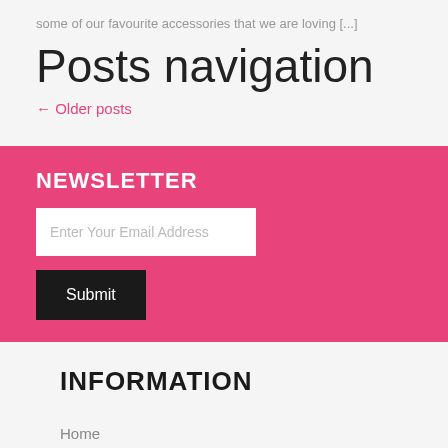some of our favourite accessories that we are loving [...]
Posts navigation
← Older posts
NEWSLETTER
Enter Your Email Address
Submit
INFORMATION
Home
About Us